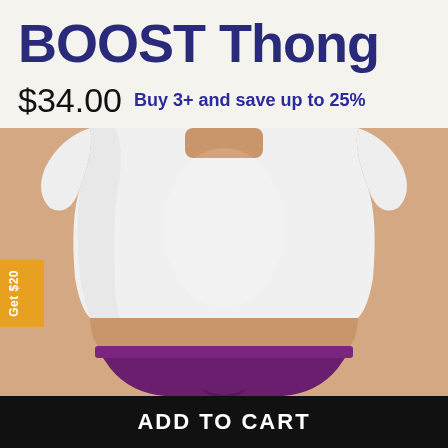BOOST Thong
$34.00  Buy 3+ and save up to 25%
[Figure (photo): Model wearing a white crop top and purple thong underwear, torso view from front]
Get $20
ADD TO CART